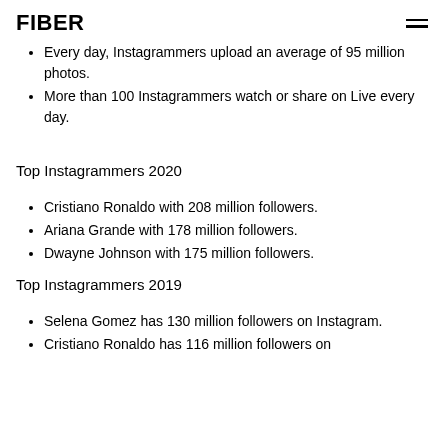FIBER
Every day, Instagrammers upload an average of 95 million photos.
More than 100 Instagrammers watch or share on Live every day.
Top Instagrammers 2020
Cristiano Ronaldo with 208 million followers.
Ariana Grande with 178 million followers.
Dwayne Johnson with 175 million followers.
Top Instagrammers 2019
Selena Gomez has 130 million followers on Instagram.
Cristiano Ronaldo has 116 million followers on